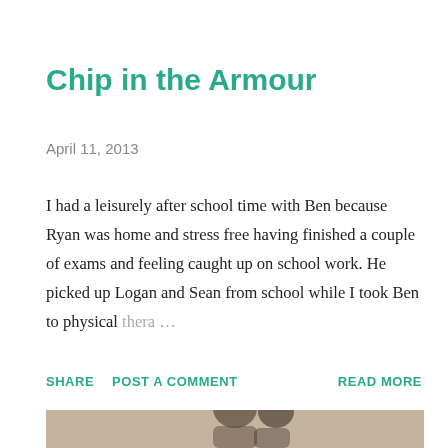Chip in the Armour
April 11, 2013
I had a leisurely after school time with Ben because Ryan was home and stress free having finished a couple of exams and feeling caught up on school work. He picked up Logan and Sean from school while I took Ben to physical thera …
SHARE  POST A COMMENT  READ MORE
[Figure (photo): Photograph of people, partially visible at bottom of page, tan/beige background]